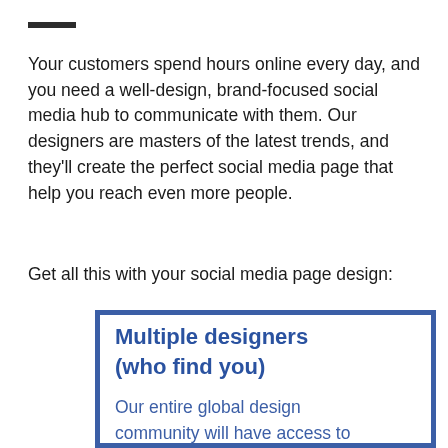Your customers spend hours online every day, and you need a well-design, brand-focused social media hub to communicate with them. Our designers are masters of the latest trends, and they'll create the perfect social media page that help you reach even more people.
Get all this with your social media page design:
Multiple designers (who find you)
Our entire global design community will have access to your contest and will send you